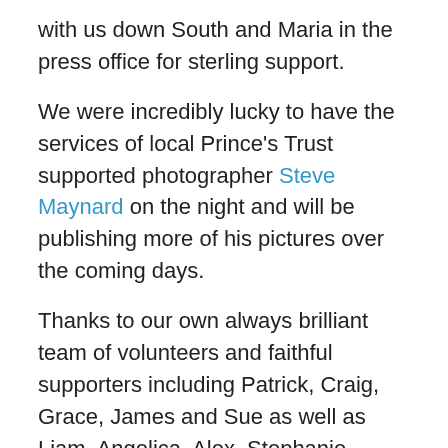with us down South and Maria in the press office for sterling support.
We were incredibly lucky to have the services of local Prince's Trust supported photographer Steve Maynard on the night and will be publishing more of his pictures over the coming days.
Thanks to our own always brilliant team of volunteers and faithful supporters including Patrick, Craig, Grace, James and Sue as well as Liam, Angelica, Alex, Stephanie, Sarah and Adam behind the scenes and long term supporters Gerry, Darren and Joe not forgetting the Armadillo Central team.
Special thanks to the equally brilliant team at St Pauls Lifestyle who worked alongside us on the build up as well